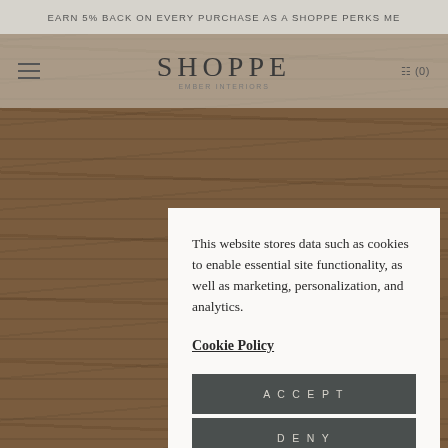EARN 5% BACK ON EVERY PURCHASE AS A SHOPPE PERKS ME...
[Figure (logo): SHOPPE EMBER INTERIORS logo with hamburger menu and cart icon (0)]
[Figure (photo): Wood texture background — dark brown wood grain panels]
This website stores data such as cookies to enable essential site functionality, as well as marketing, personalization, and analytics.
Cookie Policy
ACCEPT
DENY